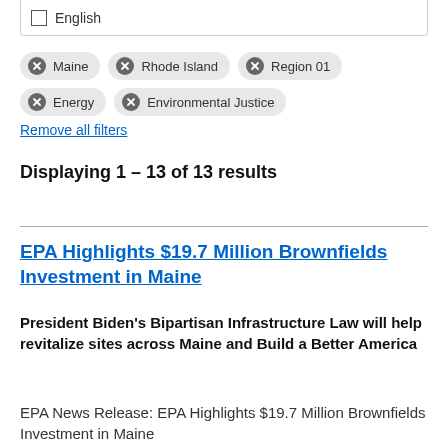English
Maine
Rhode Island
Region 01
Energy
Environmental Justice
Remove all filters
Displaying 1 – 13 of 13 results
EPA Highlights $19.7 Million Brownfields Investment in Maine
President Biden's Bipartisan Infrastructure Law will help revitalize sites across Maine and Build a Better America
EPA News Release: EPA Highlights $19.7 Million Brownfields Investment in Maine